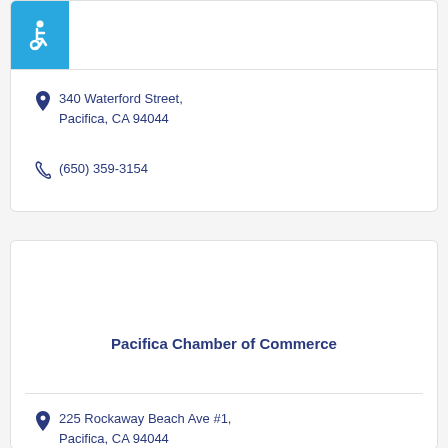[Figure (infographic): Blue accessibility/wheelchair icon badge in top-left corner of card]
340 Waterford Street, Pacifica, CA 94044
(650) 359-3154
Pacifica Chamber of Commerce
225 Rockaway Beach Ave #1, Pacifica, CA 94044